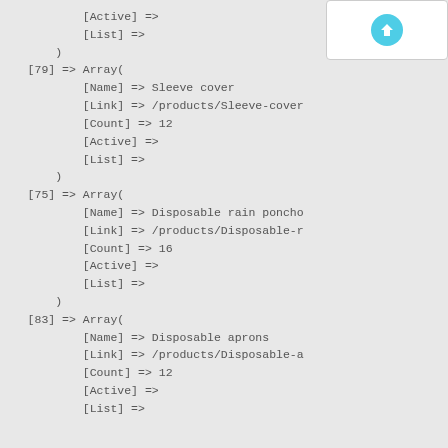[Figure (screenshot): UI overlay element showing a teal/blue icon button in a white rounded rectangle panel in the top-right corner]
[Active] =>
[List] =>
)
[79] => Array(
    [Name] => Sleeve cover
    [Link] => /products/Sleeve-cover
    [Count] => 12
    [Active] =>
    [List] =>
)
[75] => Array(
    [Name] => Disposable rain poncho
    [Link] => /products/Disposable-r
    [Count] => 16
    [Active] =>
    [List] =>
)
[83] => Array(
    [Name] => Disposable aprons
    [Link] => /products/Disposable-a
    [Count] => 12
    [Active] =>
    [List] =>